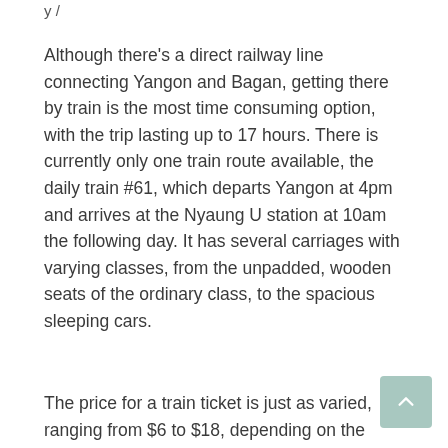y /
Although there's a direct railway line connecting Yangon and Bagan, getting there by train is the most time consuming option, with the trip lasting up to 17 hours. There is currently only one train route available, the daily train #61, which departs Yangon at 4pm and arrives at the Nyaung U station at 10am the following day. It has several carriages with varying classes, from the unpadded, wooden seats of the ordinary class, to the spacious sleeping cars.
The price for a train ticket is just as varied, ranging from $6 to $18, depending on the